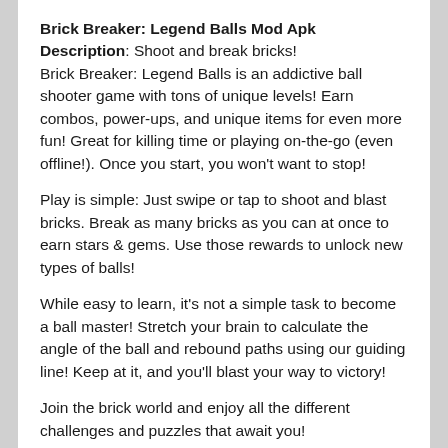Brick Breaker: Legend Balls Mod Apk Description: Shoot and break bricks! Brick Breaker: Legend Balls is an addictive ball shooter game with tons of unique levels! Earn combos, power-ups, and unique items for even more fun! Great for killing time or playing on-the-go (even offline!). Once you start, you won't want to stop!
Play is simple: Just swipe or tap to shoot and blast bricks. Break as many bricks as you can at once to earn stars & gems. Use those rewards to unlock new types of balls!
While easy to learn, it's not a simple task to become a ball master! Stretch your brain to calculate the angle of the ball and rebound paths using our guiding line! Keep at it, and you'll blast your way to victory!
Join the brick world and enjoy all the different challenges and puzzles that await you!